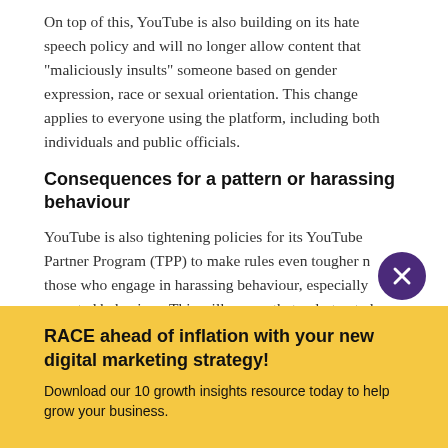On top of this, YouTube is also building on its hate speech policy and will no longer allow content that “maliciously insults” someone based on gender expression, race or sexual orientation. This change applies to everyone using the platform, including both individuals and public officials.
Consequences for a pattern or harassing behaviour
YouTube is also tightening policies for its YouTube Partner Program (TPP) to make rules even tougher n those who engage in harassing behaviour, especially repeated behaviour. This will ensure that only trusted creators are rewarded and that channels that repeatedly break harassment policy rules will be suspended from YPP. Suspensions means they will be unable to make money from YouTube.
RACE ahead of inflation with your new digital marketing strategy!
Download our 10 growth insights resource today to help grow your business.